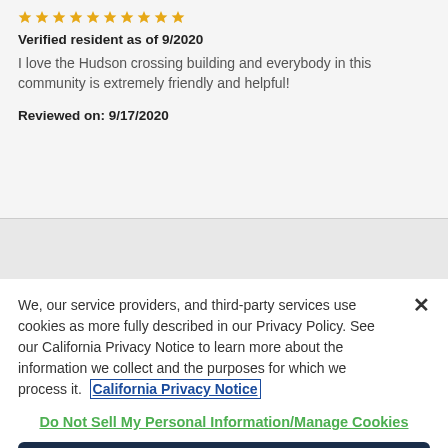[Figure (other): Row of yellow/gold star rating icons at top]
Verified resident as of 9/2020
I love the Hudson crossing building and everybody in this community is extremely friendly and helpful!
Reviewed on: 9/17/2020
We, our service providers, and third-party services use cookies as more fully described in our Privacy Policy. See our California Privacy Notice to learn more about the information we collect and the purposes for which we process it.  California Privacy Notice
Do Not Sell My Personal Information/Manage Cookies
Accept Cookies